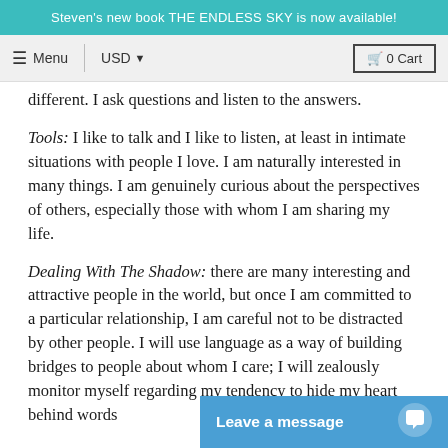Steven's new book THE ENDLESS SKY is now available!
Menu  USD  0 Cart
different. I ask questions and listen to the answers.
Tools: I like to talk and I like to listen, at least in intimate situations with people I love. I am naturally interested in many things. I am genuinely curious about the perspectives of others, especially those with whom I am sharing my life.
Dealing With The Shadow: there are many interesting and attractive people in the world, but once I am committed to a particular relationship, I am careful not to be distracted by other people. I will use language as a way of building bridges to people about whom I care; I will zealously monitor myself regarding my tendency to hide my heart behind words
Leave a message